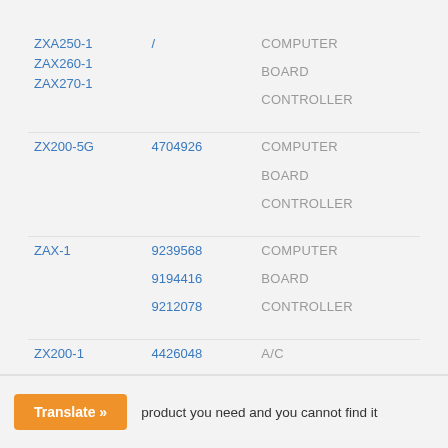| Model | Part Number | Description |
| --- | --- | --- |
| ZXA250-1
ZAX260-1
ZAX270-1 | / | COMPUTER BOARD CONTROLLER |
| ZX200-5G | 4704926 | COMPUTER BOARD CONTROLLER |
| ZAX-1 | 9239568
9194416
9212078 | COMPUTER BOARD CONTROLLER |
| ZX200-1 | 4426048 | A/C CONTROLLER |
product you need and you cannot find it